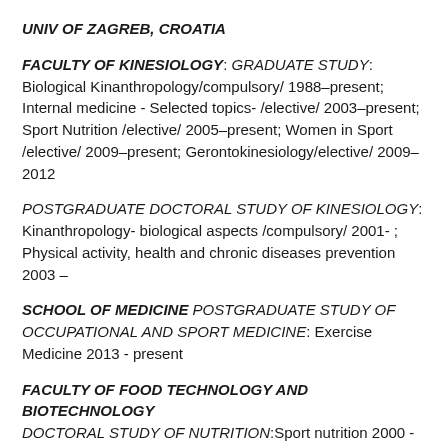UNIV OF ZAGREB, CROATIA
FACULTY OF KINESIOLOGY: GRADUATE STUDY: Biological Kinanthropology/compulsory/ 1988–present; Internal medicine - Selected topics- /elective/ 2003–present; Sport Nutrition /elective/ 2005–present; Women in Sport /elective/ 2009–present; Gerontokinesiology/elective/ 2009–2012
POSTGRADUATE DOCTORAL STUDY OF KINESIOLOGY: Kinanthropology- biological aspects /compulsory/ 2001- ; Physical activity, health and chronic diseases prevention 2003 –
SCHOOL OF MEDICINE POSTGRADUATE STUDY OF OCCUPATIONAL AND SPORT MEDICINE: Exercise Medicine 2013 - present
FACULTY OF FOOD TECHNOLOGY AND BIOTECHNOLOGY DOCTORAL STUDY OF NUTRITION:Sport nutrition 2000 - present
FACULTY OF NATURAL SCIENCES AND MATHEMATICS